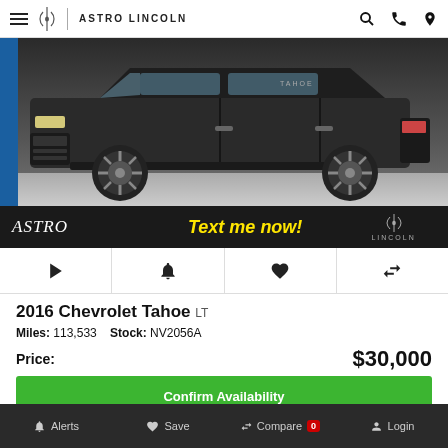ASTRO LINCOLN
[Figure (photo): Side/front view of a dark Chevrolet Tahoe SUV showing the wheel and front fascia]
[Figure (illustration): Astro Lincoln banner with yellow Text me now! call to action and Lincoln logo]
2016 Chevrolet Tahoe LT
Miles: 113,533  Stock: NV2056A
Price: $30,000
Confirm Availability
Value Your Trade
Alerts  Save  Compare 0  Login